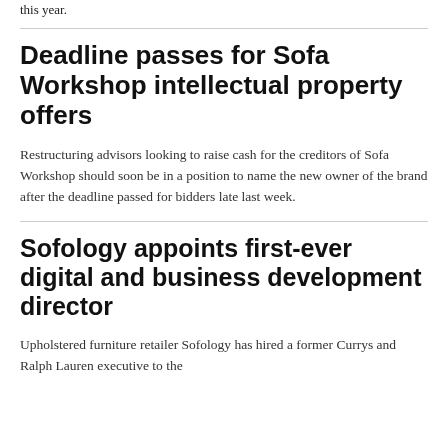this year.
Deadline passes for Sofa Workshop intellectual property offers
Restructuring advisors looking to raise cash for the creditors of Sofa Workshop should soon be in a position to name the new owner of the brand after the deadline passed for bidders late last week.
Sofology appoints first-ever digital and business development director
Upholstered furniture retailer Sofology has hired a former Currys and Ralph Lauren executive to the